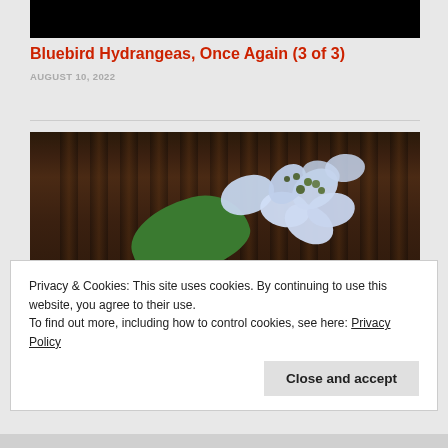[Figure (photo): Black rectangle at top — cropped previous image]
Bluebird Hydrangeas, Once Again (3 of 3)
AUGUST 10, 2022
[Figure (photo): Close-up photograph of blue/white hydrangea flower with green leaf against blurred dark wooden background]
Privacy & Cookies: This site uses cookies. By continuing to use this website, you agree to their use.
To find out more, including how to control cookies, see here: Privacy Policy
Close and accept